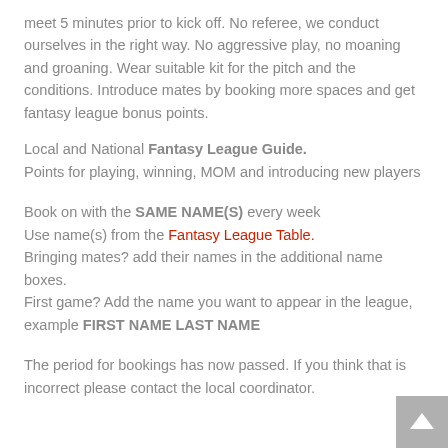meet 5 minutes prior to kick off. No referee, we conduct ourselves in the right way. No aggressive play, no moaning and groaning. Wear suitable kit for the pitch and the conditions. Introduce mates by booking more spaces and get fantasy league bonus points.
Local and National Fantasy League Guide.
Points for playing, winning, MOM and introducing new players
Book on with the SAME NAME(S) every week
Use name(s) from the Fantasy League Table.
Bringing mates? add their names in the additional name boxes.
First game? Add the name you want to appear in the league, example FIRST NAME LAST NAME
The period for bookings has now passed. If you think that is incorrect please contact the local coordinator.